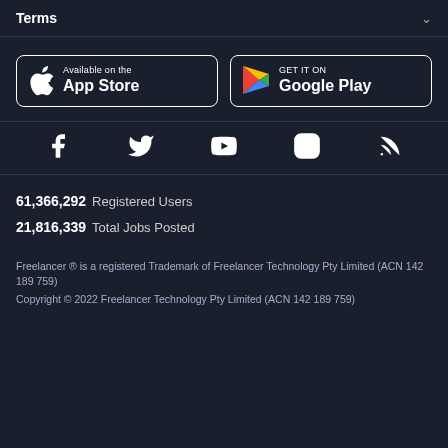Terms
[Figure (logo): App Store and Google Play download buttons]
[Figure (infographic): Social media icons: Facebook, Twitter, YouTube, Instagram, RSS]
61,366,292  Registered Users
21,816,339  Total Jobs Posted
Freelancer ® is a registered Trademark of Freelancer Technology Pty Limited (ACN 142 189 759)
Copyright © 2022 Freelancer Technology Pty Limited (ACN 142 189 759)